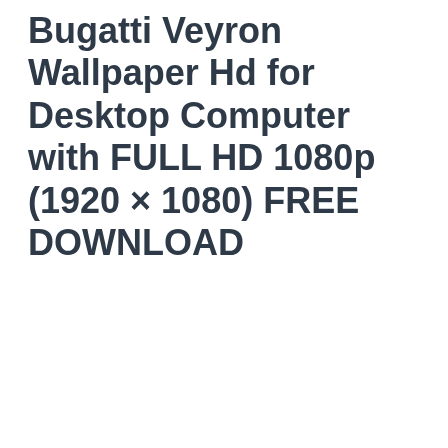Bugatti Veyron Wallpaper Hd for Desktop Computer with FULL HD 1080p (1920 × 1080) FREE DOWNLOAD